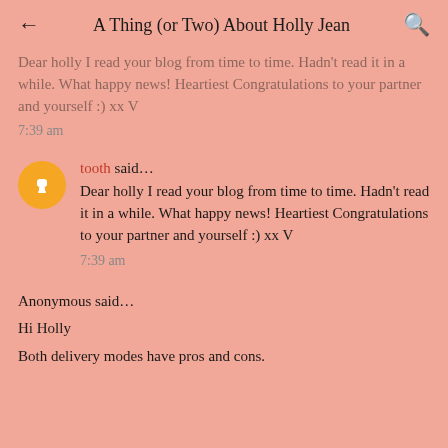← A Thing (or Two) About Holly Jean 🔍
Dear holly I read your blog from time to time. Hadn't read it in a while. What happy news! Heartiest Congratulations to your partner and yourself :) xx V
7:39 am
tooth said…
Dear holly I read your blog from time to time. Hadn't read it in a while. What happy news! Heartiest Congratulations to your partner and yourself :) xx V
7:39 am
Anonymous said…
Hi Holly
Both delivery modes have pros and cons.